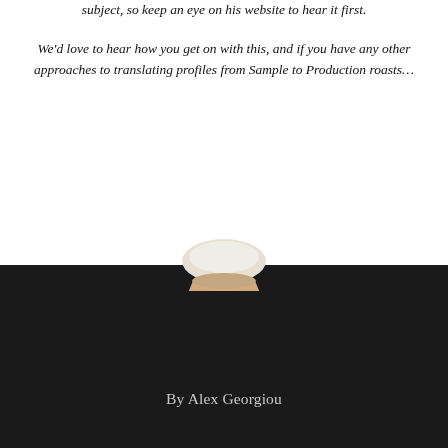subject, so keep an eye on his website to hear it first.
We'd love to hear how you get on with this, and if you have any other approaches to translating profiles from Sample to Production roasts…
[Figure (photo): Partial portrait of a person, cropped to show just the top of the head with light-coloured hair]
By Alex Georgiou